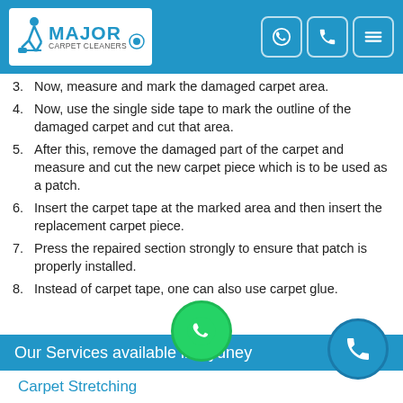Major Carpet Cleaners
3. Now, measure and mark the damaged carpet area.
4. Now, use the single side tape to mark the outline of the damaged carpet and cut that area.
5. After this, remove the damaged part of the carpet and measure and cut the new carpet piece which is to be used as a patch.
6. Insert the carpet tape at the marked area and then insert the replacement carpet piece.
7. Press the repaired section strongly to ensure that patch is properly installed.
8. Instead of carpet tape, one can also use carpet glue.
Our Services available in Sydney
Carpet Stretching